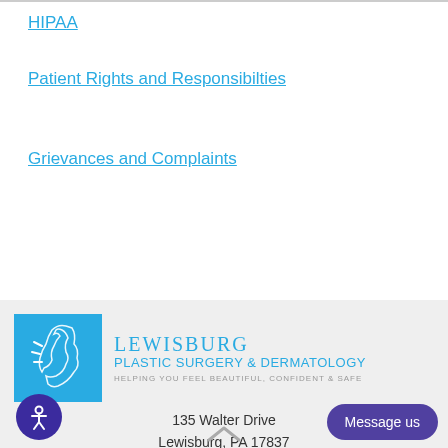HIPAA
Patient Rights and Responsibilties
Grievances and Complaints
[Figure (logo): Lewisburg Plastic Surgery & Dermatology logo - blue square with face profile outline on left, text on right reading LEWISBURG PLASTIC SURGERY & DERMATOLOGY - HELPING YOU FEEL BEAUTIFUL, CONFIDENT & SAFE]
135 Walter Drive
Lewisburg, PA 17837
570.524.7777